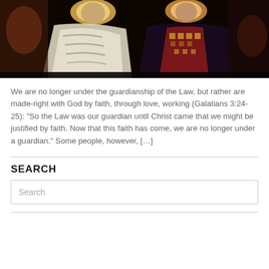[Figure (photo): Byzantine mosaic or painting of two religious figures, one in white/gold robes and one in dark robes with ornate red and gold vestments]
We are no longer under the guardianship of the Law, but rather are made-right with God by faith, through love, working (Galatians 3:24-25): “So the Law was our guardian until Christ came that we might be justified by faith. Now that this faith has come, we are no longer under a guardian.” Some people, however, […]
SEARCH